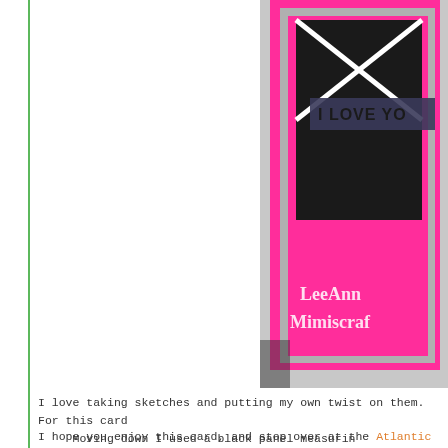[Figure (photo): Partial view of a handmade pink and black card with 'I LOVE YOU' text, gray border, with LeeAnn Mimiscraf watermark text visible]
I love taking sketches and putting my own twist on them. For this card Moving down I used a black panel measurin The heart was made using a Tim Holtz Scribbles die The Sentiment 'I Love You' is from a Woodware Sta
I hope you enjoy this card, and stop over at the Atlantic Hearts Challeng